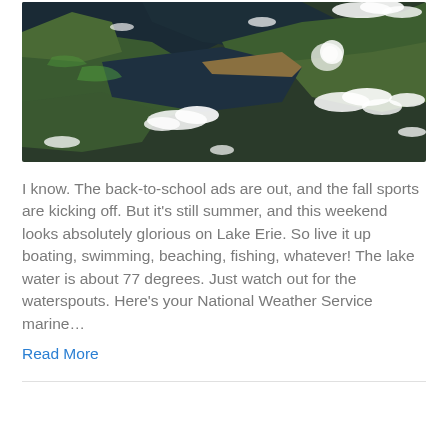[Figure (photo): Satellite aerial view of Lake Erie region showing green land areas, dark water, and white cloud cover scattered across the image.]
I know. The back-to-school ads are out, and the fall sports are kicking off. But it's still summer, and this weekend looks absolutely glorious on Lake Erie. So live it up boating, swimming, beaching, fishing, whatever! The lake water is about 77 degrees. Just watch out for the waterspouts. Here's your National Weather Service marine…
Read More